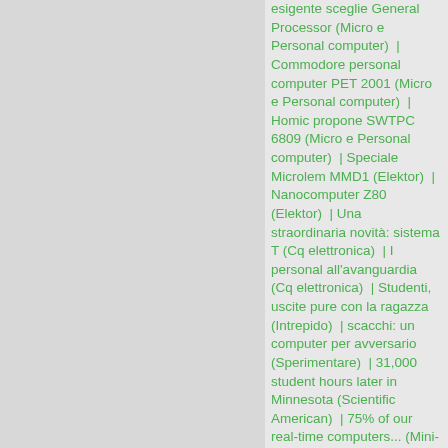esigente sceglie General Processor (Micro e Personal computer) | Commodore personal computer PET 2001 (Micro e Personal computer) | Homic propone SWTPC 6809 (Micro e Personal computer) | Speciale Microlem MMD1 (Elektor) | Nanocomputer Z80 (Elektor) | Una straordinaria novità: sistema T (Cq elettronica) | I personal all'avanguardia (Cq elettronica) | Studenti, uscite pure con la ragazza (Intrepido) | scacchi: un computer per avversario (Sperimentare) | 31,000 student hours later in Minnesota (Scientific American) | 75% of our real-time computers... (Mini-Micro systems) | Mistral 801, il microcomputer che da' tutto (Bit) | Switching to Data General (Computerworld) | IBM Series/1. Broader than ever. (Computerworld) | ADDS, best buy in distributed processing (Computerworld) | Data General introduces freedom of choice (Computerworld) | Introducing the NEC Astra (Computerworld) | Four for the price of one. (Computerworld) | HP ends the distributed processing compromise (Computerworld) | Computer PET2001 (Bit) | State pensando ad un microcomputer? (bit) | Homic presenta i computer personali (bit) | HOMIC presenta al 'Bit' i suoi Kilobyte (Bit) | General Processor - Personal Computer (bit) | State pensando ad un microcomputer? (bit) | BASF helps the good times (Computerworld) | The dynamic network. (Computerworld) | A 4341 alternative... that's available today (Computerworld) | Announcing the 8100 alternative. (Computerworld) | Honeywell DISTRIBUTED